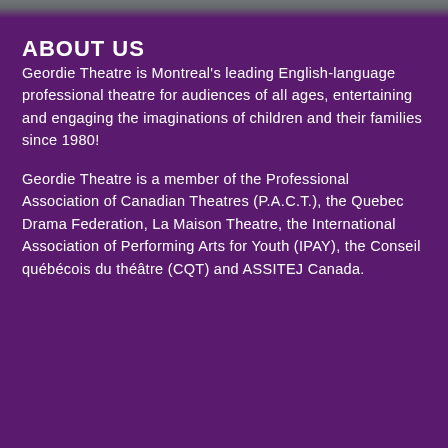ABOUT US
Geordie Theatre is Montreal's leading English-language professional theatre for audiences of all ages, entertaining and engaging the imaginations of children and their families since 1980!
Geordie Theatre is a member of the Professional Association of Canadian Theatres (P.A.C.T.), the Quebec Drama Federation, La Maison Theatre, the International Association of Performing Arts for Youth (IPAY), the Conseil québécois du théâtre (CQT) and ASSITEJ Canada.